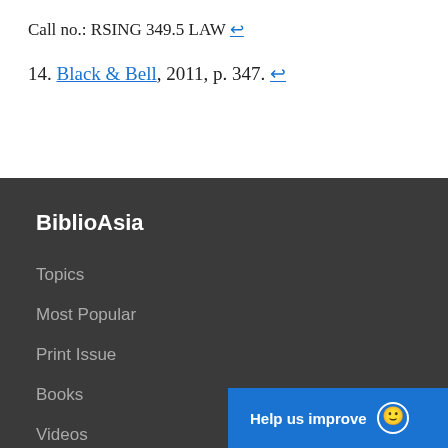Call no.: RSING 349.5 LAW ↩
14. Black & Bell, 2011, p. 347. ↩
BiblioAsia
Topics
Most Popular
Print Issue
Books
Videos
Help us improve 😊